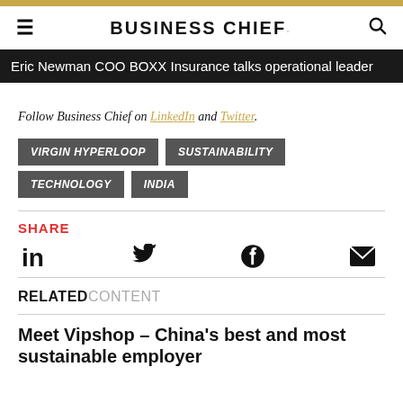BUSINESS CHIEF
Eric Newman COO BOXX Insurance talks operational leader
Follow Business Chief on LinkedIn and Twitter.
VIRGIN HYPERLOOP
SUSTAINABILITY
TECHNOLOGY
INDIA
SHARE
RELATED CONTENT
Meet Vipshop – China's best and most sustainable employer